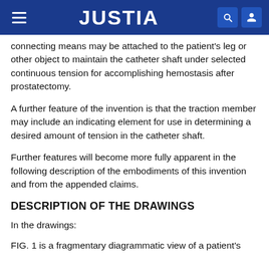JUSTIA
connecting means may be attached to the patient's leg or other object to maintain the catheter shaft under selected continuous tension for accomplishing hemostasis after prostatectomy.
A further feature of the invention is that the traction member may include an indicating element for use in determining a desired amount of tension in the catheter shaft.
Further features will become more fully apparent in the following description of the embodiments of this invention and from the appended claims.
DESCRIPTION OF THE DRAWINGS
In the drawings:
FIG. 1 is a fragmentary diagrammatic view of a patient's